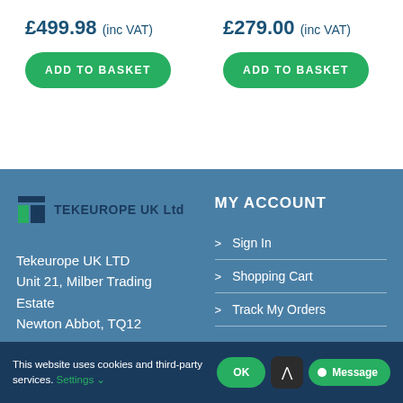£499.98 (inc VAT)
ADD TO BASKET
£279.00 (inc VAT)
ADD TO BASKET
[Figure (logo): Tekeurope UK Ltd logo with blue and green T icon]
TEKEUROPE UK Ltd
MY ACCOUNT
Tekeurope UK LTD
Unit 21, Milber Trading Estate
Newton Abbot, TQ12
> Sign In
> Shopping Cart
> Track My Orders
This website uses cookies and third-party services. Settings ❯
OK
EJECT
Message